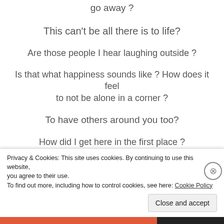go away?
This can't be all there is to life?
Are those people I hear laughing outside?
Is that what happiness sounds like? How does it feel to not be alone in a corner?
To have others around you too?
How did I get here in the first place?
Who brought me here? How did I get here? Does no one care for me at all?
Advertisements
Privacy & Cookies: This site uses cookies. By continuing to use this website, you agree to their use.
To find out more, including how to control cookies, see here: Cookie Policy
Close and accept